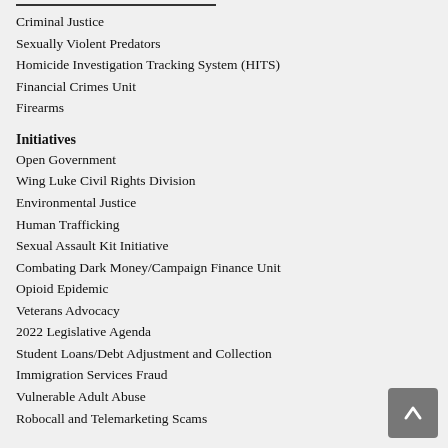Criminal Justice
Sexually Violent Predators
Homicide Investigation Tracking System (HITS)
Financial Crimes Unit
Firearms
Initiatives
Open Government
Wing Luke Civil Rights Division
Environmental Justice
Human Trafficking
Sexual Assault Kit Initiative
Combating Dark Money/Campaign Finance Unit
Opioid Epidemic
Veterans Advocacy
2022 Legislative Agenda
Student Loans/Debt Adjustment and Collection
Immigration Services Fraud
Vulnerable Adult Abuse
Robocall and Telemarketing Scams